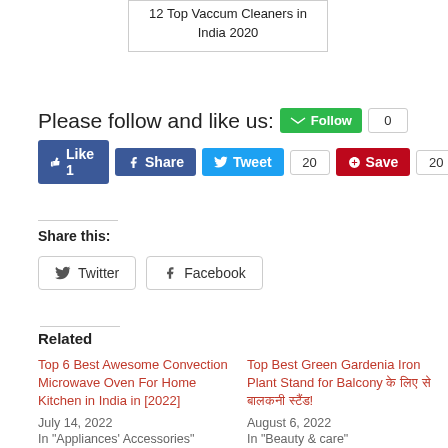12 Top Vaccum Cleaners in India 2020
Please follow and like us:
Share this:
Related
Top 6 Best Awesome Convection Microwave Oven For Home Kitchen in India in [2022]
July 14, 2022
In "Appliances' Accessories"
Top Best Green Gardenia Iron Plant Stand for Balcony के लिए से बालकनी प्लांट!
August 6, 2022
In "Beauty & care"